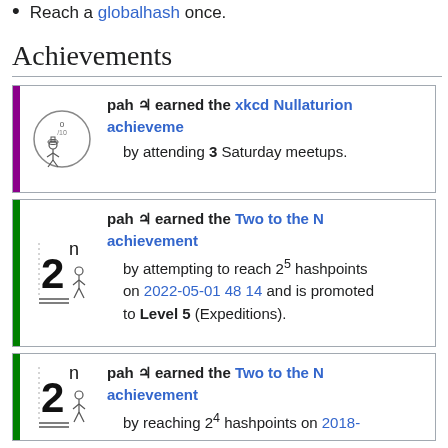Reach a globalhash once.
Achievements
pah ♃ earned the xkcd Nullaturion achievement by attending 3 Saturday meetups.
pah ♃ earned the Two to the N achievement by attempting to reach 2^5 hashpoints on 2022-05-01 48 14 and is promoted to Level 5 (Expeditions).
pah ♃ earned the Two to the N achievement by reaching 2^4 hashpoints on 2018-